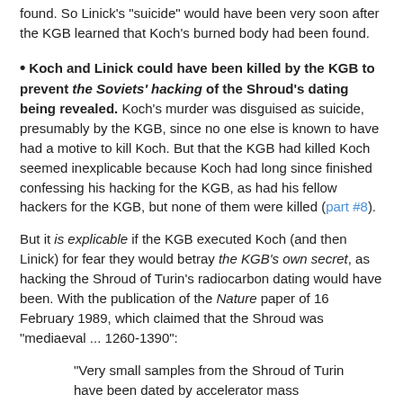found. So Linick's 'suicide' would have been very soon after the KGB learned that Koch's burned body had been found.
Koch and Linick could have been killed by the KGB to prevent the Soviets' hacking of the Shroud's dating being revealed. Koch's murder was disguised as suicide, presumably by the KGB, since no one else is known to have had a motive to kill Koch. But that the KGB had killed Koch seemed inexplicable because Koch had long since finished confessing his hacking for the KGB, as had his fellow hackers for the KGB, but none of them were killed (part #8).
But it is explicable if the KGB executed Koch (and then Linick) for fear they would betray the KGB's own secret, as hacking the Shroud of Turin's radiocarbon dating would have been. With the publication of the Nature paper of 16 February 1989, which claimed that the Shroud was "mediaeval ... 1260-1390":
"Very small samples from the Shroud of Turin have been dated by accelerator mass spectrometry in laboratories at Arizona, Oxford and Zurich. As Controls, three samples whose